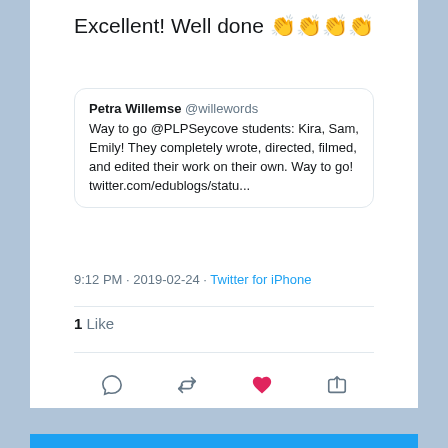Excellent! Well done 👏👏👏👏
Petra Willemse @willewords
Way to go @PLPSeycove students: Kira, Sam, Emily! They completely wrote, directed, filmed, and edited their work on their own. Way to go! twitter.com/edublogs/statu...
9:12 PM · 2019-02-24 · Twitter for iPhone
1 Like